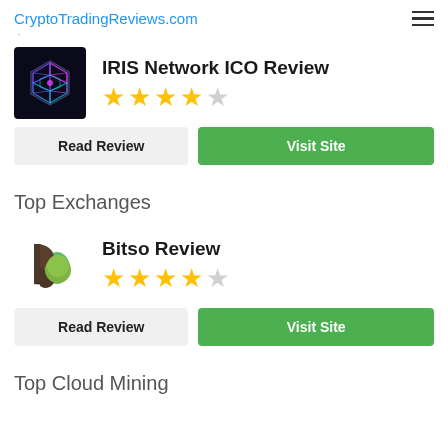CryptoTradingReviews.com
IRIS Network ICO Review
★★★★☆ (4 out of 5 stars)
Read Review | Visit Site
Top Exchanges
Bitso Review
★★★★☆ (4 out of 5 stars)
Read Review | Visit Site
Top Cloud Mining